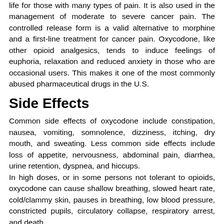life for those with many types of pain. It is also used in the management of moderate to severe cancer pain. The controlled release form is a valid alternative to morphine and a first-line treatment for cancer pain. Oxycodone, like other opioid analgesics, tends to induce feelings of euphoria, relaxation and reduced anxiety in those who are occasional users. This makes it one of the most commonly abused pharmaceutical drugs in the U.S.
Side Effects
Common side effects of oxycodone include constipation, nausea, vomiting, somnolence, dizziness, itching, dry mouth, and sweating. Less common side effects include loss of appetite, nervousness, abdominal pain, diarrhea, urine retention, dyspnea, and hiccups. In high doses, or in some persons not tolerant to opioids, oxycodone can cause shallow breathing, slowed heart rate, cold/clammy skin, pauses in breathing, low blood pressure, constricted pupils, circulatory collapse, respiratory arrest, and death. Oxycodone overdose has also been described to cause spinal cord [flags] and ischemic damage to the brain, due [Select Language dropdown] n suppressed breathing. The symptoms of oxycodone withdrawal, as with other opioids,